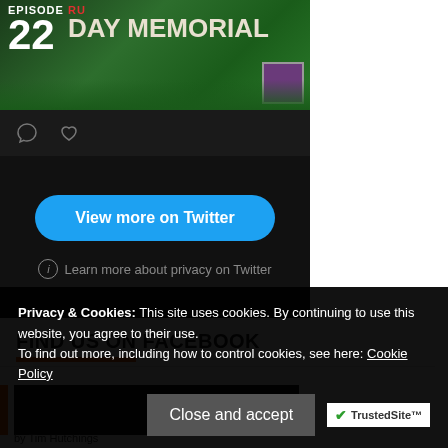[Figure (screenshot): Twitter embedded post showing Episode 22 Day Memorial game thumbnail with dark background, comment and heart icons, a 'View more on Twitter' blue button, and a privacy link]
FIND US ON FACEBOOK
[Figure (screenshot): Facebook embed preview with dark background showing partial content and author byline 'by Tim Hutchings']
Privacy & Cookies: This site uses cookies. By continuing to use this website, you agree to their use.
To find out more, including how to control cookies, see here: Cookie Policy
Close and accept
[Figure (logo): TrustedSite badge with green checkmark]